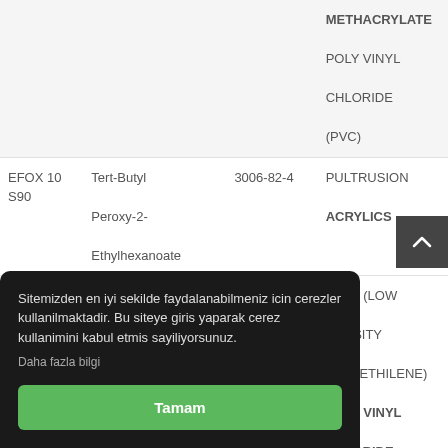| Product | Chemical Name | CAS No. | Application |
| --- | --- | --- | --- |
|  |  |  | METHACRYLATE
POLY VINYL
CHLORIDE
(PVC) |
| EFOX 10 S90 | Tert-Butyl Peroxy-2-Ethylhexanoate | 3006-82-4 | PULTRUSION
ACRYLICS |
| EFOX 100 | Tert-Butyl Peroxyneodecanoate | 26748-41-4 | LDPE (LOW DENSITY POLYETHYLENE)
POLY VINYL CHLORIDE (PVC) |
| S75 | Peroxyneodecanoate | -1-4 | LDPE (LOW DENSITY |
Sitemizden en iyi sekilde faydalanabilmeniz icin cerezler kullanilmaktadir. Bu siteye giris yaparak cerez kullanimini kabul etmis sayiliyorsunuz.
Daha fazla bilgi
Tamam